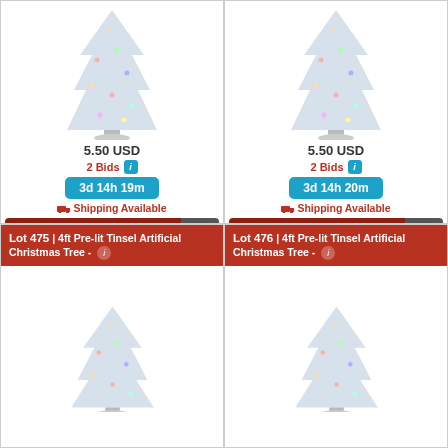[Figure (photo): 4ft Pre-lit Tinsel Artificial Christmas Tree - white/silver, top-left card]
5.50 USD
2 Bids
3d 14h 19m
Shipping Available
Bid 6.00
[Figure (photo): 4ft Pre-lit Tinsel Artificial Christmas Tree - white/silver, top-right card]
5.50 USD
2 Bids
3d 14h 20m
Shipping Available
Bid 6.00
Lot 475 | 4ft Pre-lit Tinsel Artificial Christmas Tree -
[Figure (photo): 4ft Pre-lit Tinsel Artificial Christmas Tree - white/silver, bottom-left card]
Lot 476 | 4ft Pre-lit Tinsel Artificial Christmas Tree -
[Figure (photo): 4ft Pre-lit Tinsel Artificial Christmas Tree - white/silver, bottom-right card]